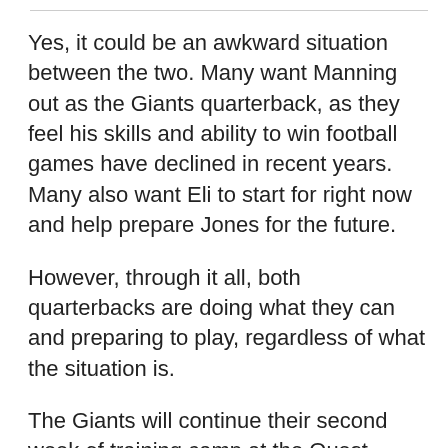Yes, it could be an awkward situation between the two. Many want Manning out as the Giants quarterback, as they feel his skills and ability to win football games have declined in recent years. Many also want Eli to start for right now and help prepare Jones for the future.
However, through it all, both quarterbacks are doing what they can and preparing to play, regardless of what the situation is.
The Giants will continue their second week of training camp at the Quest Diagnostics Training Center in East Rutherford, NJ on Wednesday. The first week